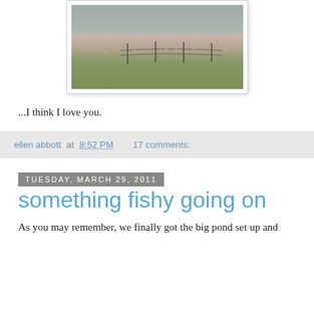[Figure (photo): Landscape photograph of a field with pink wildflowers and green grass under an overcast sky, shown in a white photo frame with drop shadow]
...I think I love you.
ellen abbott at 8:52 PM    17 comments:
Tuesday, March 29, 2011
something fishy going on
As you may remember, we finally got the big pond set up and